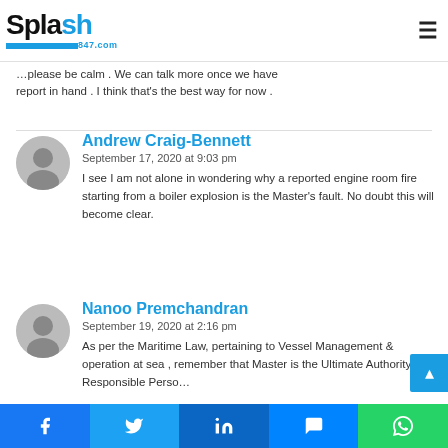Splash 847.com
please be calm . We can talk more once we have report in hand . I think that's the best way for now .
Andrew Craig-Bennett
September 17, 2020 at 9:03 pm
I see I am not alone in wondering why a reported engine room fire starting from a boiler explosion is the Master's fault. No doubt this will become clear.
Nanoo Premchandran
September 19, 2020 at 2:16 pm
As per the Maritime Law, pertaining to Vessel Management & operation at sea , remember that Master is the Ultimate Authority / Responsible Perso…